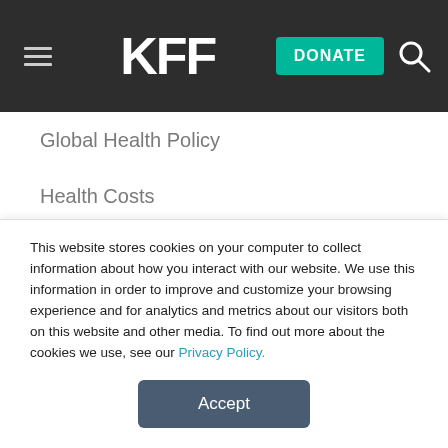KFF — DONATE
Global Health Policy
Health Costs
Health Reform
HIV/AIDS
Medicaid
Medicare
Private Insurance
This website stores cookies on your computer to collect information about how you interact with our website. We use this information in order to improve and customize your browsing experience and for analytics and metrics about our visitors both on this website and other media. To find out more about the cookies we use, see our Privacy Policy.